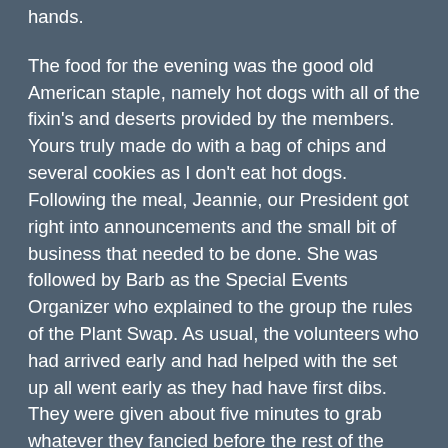hands.
The food for the evening was the good old American staple, namely hot dogs with all of the fixin's and deserts provided by the members. Yours truly made do with a bag of chips and several cookies as I don't eat hot dogs. Following the meal, Jeannie, our President got right into announcements and the small bit of business that needed to be done. She was followed by Barb as the Special Events Organizer who explained to the group the rules of the Plant Swap. As usual, the volunteers who had arrived early and had helped with the set up all went early as they had have first dibs. They were given about five minutes to grab whatever they fancied before the rest of the ticket holders rushed out to fight over whatever remained. They were followed by those without tickets to hopefully grab all that was left to save the donators having to take them back home. Incidentally, the tickets signified that you actually had contributed something in the way of plants or fish. I opted to not donate anything this year as the few remaining plants that I have at home will be used in my own ponds. This did give me more time on taking the pictures and videos so it had some positives.
The swap went very quickly and the meeting was over by 7:30 pm with even the cleanup completed. This has to be one of the fastest